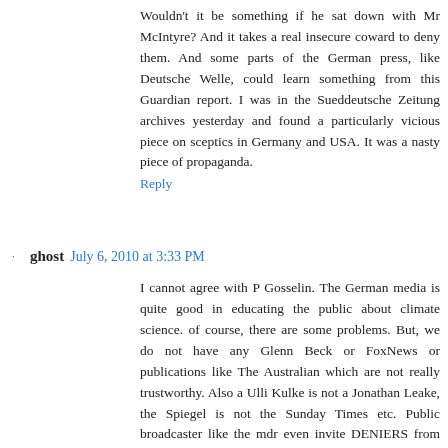Wouldn't it be something if he sat down with Mr McIntyre? And it takes a real insecure coward to deny them. And some parts of the German press, like Deutsche Welle, could learn something from this Guardian report. I was in the Sueddeutsche Zeitung archives yesterday and found a particularly vicious piece on sceptics in Germany and USA. It was a nasty piece of propaganda.
Reply
ghost  July 6, 2010 at 3:33 PM
I cannot agree with P Gosselin. The German media is quite good in educating the public about climate science. of course, there are some problems. But, we do not have any Glenn Beck or FoxNews or publications like The Australian which are not really trustworthy. Also a Ulli Kulke is not a Jonathan Leake, the Spiegel is not the Sunday Times etc. Public broadcaster like the mdr even invite DENIERS from EIKE (a CFACT funded think tank with close connections to right-wing and libertarian think tanks in the US. EIKE has one employee and names itself as European Institute for